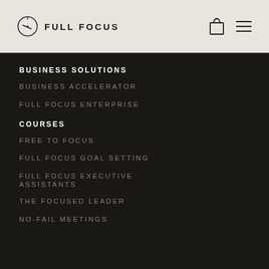FULL FOCUS
BUSINESS SOLUTIONS
BUSINESS ACCELERATOR
FULL FOCUS ENTERPRISE
COURSES
FREE TO FOCUS
FULL FOCUS GOAL SETTING
FULL FOCUS EXECUTIVE ASSISTANTS
THE FOCUSED LEADER
NO-FAIL MEETINGS